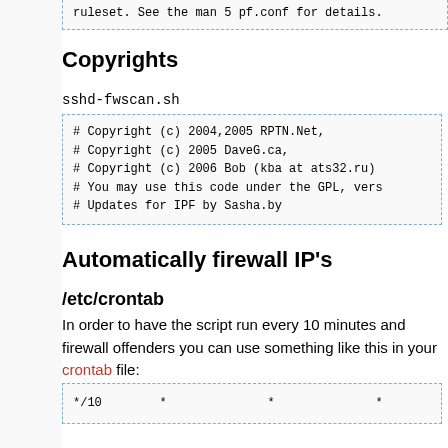ruleset. See the man 5 pf.conf for details.
Copyrights
sshd-fwscan.sh
# Copyright (c) 2004,2005 RPTN.Net,
# Copyright (c) 2005 DaveG.ca,
# Copyright (c) 2006 Bob (kba at ats32.ru)
# You may use this code under the GPL, vers...
# Updates for IPF by Sasha.by
Automatically firewall IP's
/etc/crontab
In order to have the script run every 10 minutes and firewall offenders you can use something like this in your crontab file:
*/10        *              *              *              *       roo
Note: Some users might prefer a tailing method rather then a scanning/searching method, but all we really want is to slow down such attacks to reduce their chances of cracking a user account and not waste our